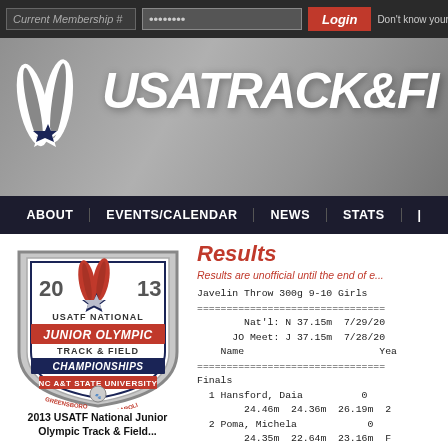Current Membership # | ******** | Login | Don't know your c...
[Figure (logo): USA Track & Field website header banner with USATF logo (white feathers and star) and text USATRACK&FI... on grey background]
ABOUT | EVENTS/CALENDAR | NEWS | STATS |
[Figure (logo): 2013 USATF National Junior Olympic Track & Field Championships badge/shield logo with NC A&T State University, Greensboro, North Carolina]
Results
Results are unofficial until the end of e...
| Event | Record | Distance | Date | Name | Year |
| --- | --- | --- | --- | --- | --- |
| Javelin Throw 300g 9-10 Girls |  |  |  |  |  |
| Nat'l: | N | 37.15m | 7/29/20 |  |  |
| JO Meet: | J | 37.15m | 7/28/20 |  |  |
| Finals |  |  |  |  |  |
| 1 Hansford, Daia |  | 0 |  |  |  |
|  | 24.46m | 24.36m | 26.19m | 2 |  |
| 2 Poma, Michela |  | 0 |  |  |  |
|  | 24.35m | 22.64m | 23.16m | F |  |
| 3 Sohn, Alyssa |  | 0 |  |  |  |
|  | 25.11m | 24.50m | 19.93m |  |  |
2013 USATF National Junior Olympic Track & Field...